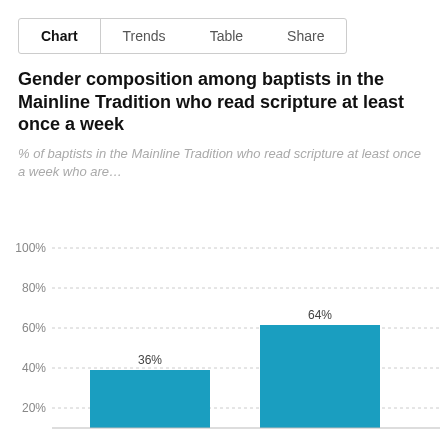Chart   Trends   Table   Share
Gender composition among baptists in the Mainline Tradition who read scripture at least once a week
% of baptists in the Mainline Tradition who read scripture at least once a week who are…
[Figure (bar-chart): Gender composition among baptists in the Mainline Tradition who read scripture at least once a week]